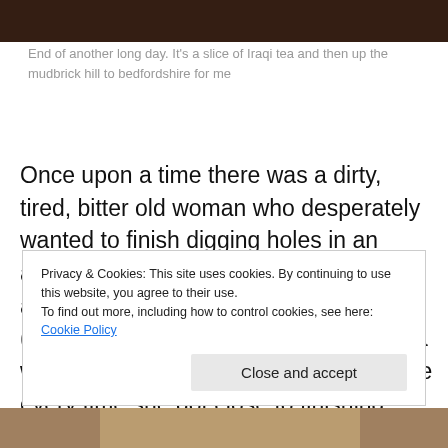[Figure (photo): Dark brown image at top of page, appears to be a photo of an archaeological or outdoor setting at dusk/night]
End of another long day. It's a slice of Iraqi tea and then up the mudbrick hill to bedfordshire for me
Once upon a time there was a dirty, tired, bitter old woman who desperately wanted to finish digging holes in an ancient palace so she could write it up and go home and live happily ever after (or at least watch tv in her pyjamas for a week). But this couldn't happen because every time she got close to finishing excavating her last room some old crap would turn up and she would tear her hair and
Privacy & Cookies: This site uses cookies. By continuing to use this website, you agree to their use.
To find out more, including how to control cookies, see here: Cookie Policy
[Figure (photo): Partial photo visible at bottom of page showing what appears to be an archaeological artifact or animal]